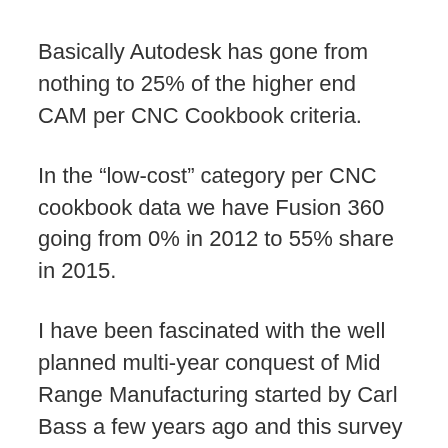Basically Autodesk has gone from nothing to 25% of the higher end CAM per CNC Cookbook criteria.
In the “low-cost” category per CNC cookbook data we have Fusion 360 going from 0% in 2012 to 55% share in 2015.
I have been fascinated with the well planned multi-year conquest of Mid Range Manufacturing started by Carl Bass a few years ago and this survey was the first time I could see quantifiable results coming in. It does not look good for the competition. It is not my intent to hammer on the subscription thing here but with these stellar numbers I wonder why common sense has not overtaken the agenda at Autodesk. It is time to rethink this and stay with the seats and subs and let users choose. You guys are